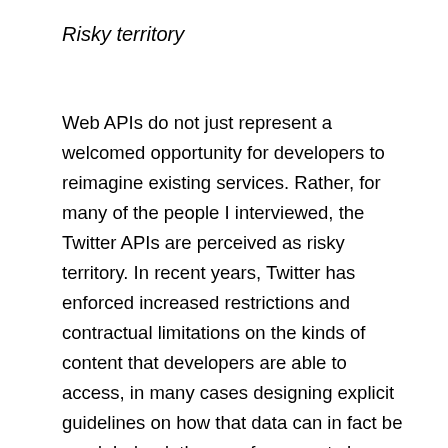Risky territory
Web APIs do not just represent a welcomed opportunity for developers to reimagine existing services. Rather, for many of the people I interviewed, the Twitter APIs are perceived as risky territory. In recent years, Twitter has enforced increased restrictions and contractual limitations on the kinds of content that developers are able to access, in many cases designing explicit guidelines on how that data can in fact be used. Indeed, these enforcements have had the power to ‘shudder some businesses, while allowing some to flourish’, as Jack pointed out in his description of APIs in the opening quote.